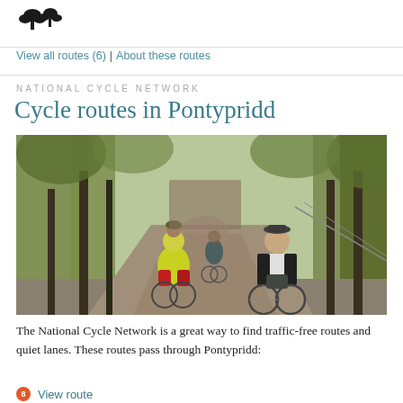[Figure (logo): Small black tree/map logo in top left corner]
View all routes (6) | About these routes
NATIONAL CYCLE NETWORK
Cycle routes in Pontypridd
[Figure (photo): Two cyclists riding along a tree-lined path. One in hi-vis yellow jacket with panniers, another facing the camera on a blue bicycle. Wooded, traffic-free route.]
The National Cycle Network is a great way to find traffic-free routes and quiet lanes. These routes pass through Pontypridd:
8  View route